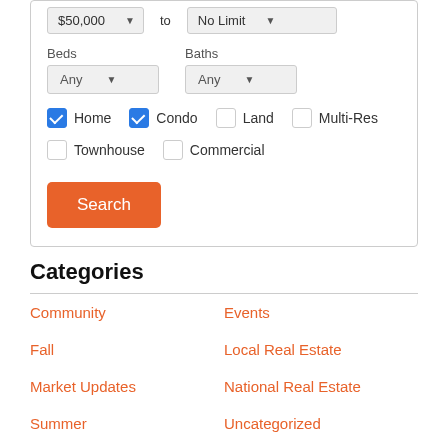$50,000 to No Limit (price range dropdowns)
Beds: Any, Baths: Any (dropdowns)
Home (checked), Condo (checked), Land (unchecked), Multi-Res (unchecked)
Townhouse (unchecked), Commercial (unchecked)
Search (button)
Categories
Community
Events
Fall
Local Real Estate
Market Updates
National Real Estate
Summer
Uncategorized